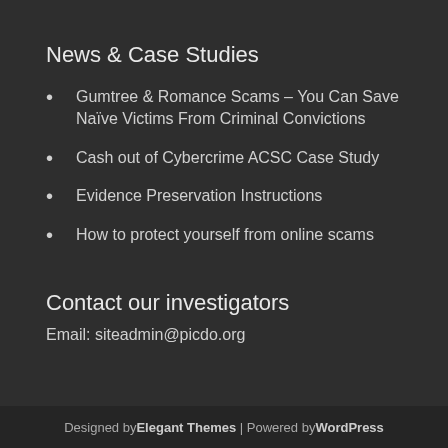News & Case Studies
Gumtree & Romance Scams – You Can Save Naïve Victims From Criminal Convictions
Cash out of Cybercrime ACSC Case Study
Evidence Preservation Instructions
How to protect yourself from online scams
Contact our investigators
Email: siteadmin@picdo.org
Designed by Elegant Themes | Powered by WordPress